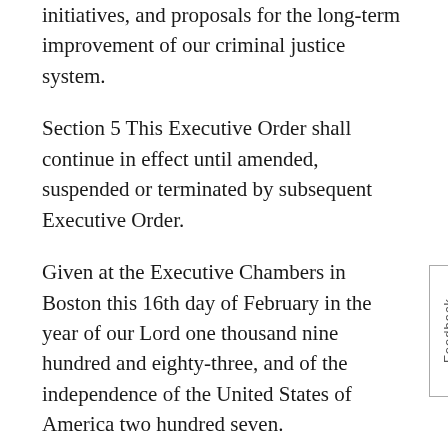initiatives, and proposals for the long-term improvement of our criminal justice system.
Section 5 This Executive Order shall continue in effect until amended, suspended or terminated by subsequent Executive Order.
Given at the Executive Chambers in Boston this 16th day of February in the year of our Lord one thousand nine hundred and eighty-three, and of the independence of the United States of America two hundred seven.
MICHAEL S. DUKAKIS
GOVERNOR
Commonwealth of Massachusetts